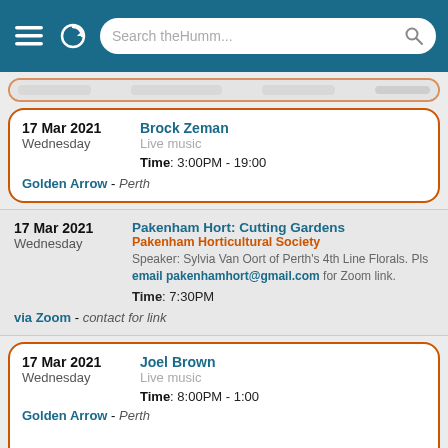[Figure (screenshot): Mobile browser top bar with hamburger menu, refresh icon, and search bar reading 'Search theHumm...']
17 Mar 2021 Wednesday | Brock Zeman | Live music | Time: 3:00PM - 19:00 | Golden Arrow - Perth
17 Mar 2021 Wednesday | Pakenham Hort: Cutting Gardens | Pakenham Horticultural Society | Speaker: Sylvia Van Oort of Perth's 4th Line Florals. Pls email pakenhamhort@gmail.com for Zoom link. | Time: 7:30PM | via Zoom - contact for link
17 Mar 2021 Wednesday | Joel Brown | Live music | Time: 8:00PM - 1:00 | Golden Arrow - Perth